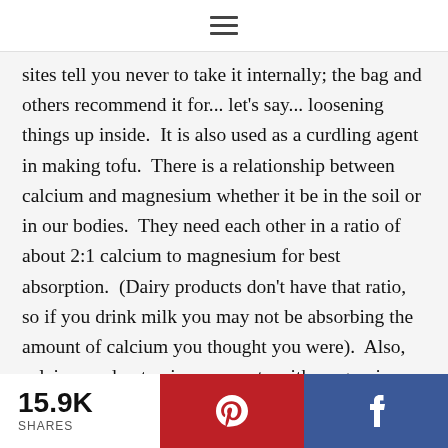☰
sites tell you never to take it internally; the bag and others recommend it for... let's say... loosening things up inside.  It is also used as a curdling agent in making tofu.  There is a relationship between calcium and magnesium whether it be in the soil or in our bodies.  They need each other in a ratio of about 2:1 calcium to magnesium for best absorption.  (Dairy products don't have that ratio, so if you drink milk you may not be absorbing the amount of calcium you thought you were).  Also, calcium and potassium compete with magnesium for
15.9K SHARES